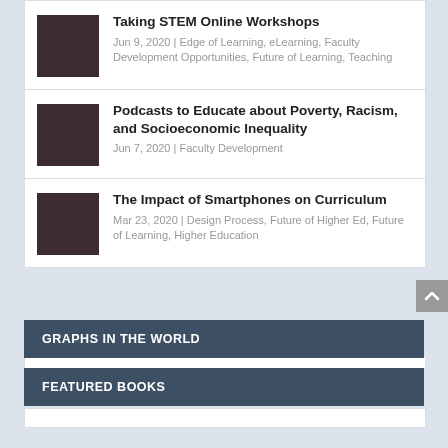Taking STEM Online Workshops — Jun 9, 2020 | Edge of Learning, eLearning, Faculty Development Opportunities, Future of Learning, Teaching
Podcasts to Educate about Poverty, Racism, and Socioeconomic Inequality — Jun 7, 2020 | Faculty Development
The Impact of Smartphones on Curriculum — Mar 23, 2020 | Design Process, Future of Higher Ed, Future of Learning, Higher Education
GRAPHS IN THE WORLD
FEATURED BOOKS